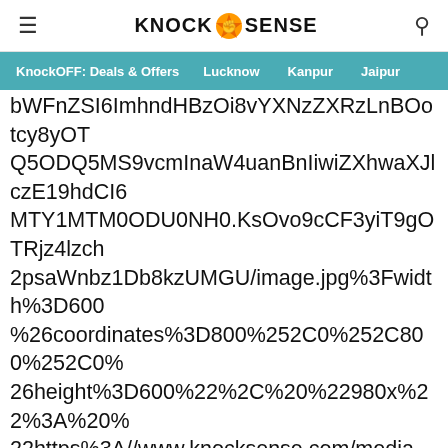KNOCK SENSE
KnockOFF: Deals & Offers  Lucknow  Kanpur  Jaipur
bWFnZSI6ImhndHBzOi8vYXNzZXRzLnBOotcy8yOTQ5ODQ5MS9vcmInaW4uanBnIiwiZXhwaXJlczE19hdCI6MTY1MTM0ODU0NH0.KsOvo9cCF3yiT9gOTRjz4lzch2psaWnbz1Db8kzUMGU/image.jpg%3Fwidth%3D600%26coordinates%3D800%252C0%252C800%252C0%26height%3D600%22%2C%20%22980x%22%3A%20%22https%3A//www.knocksense.com/media-library/eyJhbGciOiJIUzI1NiIsInR5cCI6IkpXVCJ9.eyJpbWFnZSI6Imh0dHBzOi8vYXNzZXRzLnB0cy8yOTQ5ODQ5MS9vcmlnaW4uanBnIiwiZXhwaXJlczE19hdCI6MTY1MTM0ODU0NH0.KsOvo9cCF3yiT9gOTRjz4lzch2psaWnbz1Db8kzUMGU/image.jpg%3Fwidth%3D980%22%2C%20%22700x1245%22%3A%20%22https%3A//www.knocksense.com/media-